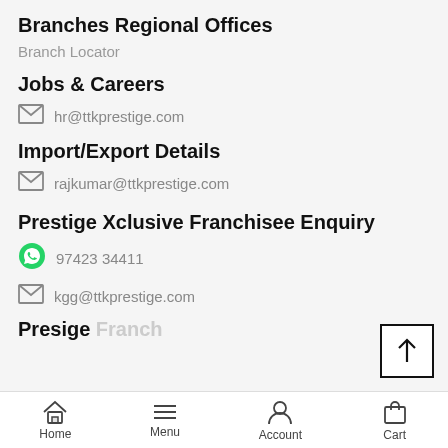Branches Regional Offices
Branch Locator
Jobs & Careers
hr@ttkprestige.com
Import/Export Details
rajkumar@ttkprestige.com
Prestige Xclusive Franchisee Enquiry
97423 34411
kgg@ttkprestige.com
Home  Menu  Account  Cart